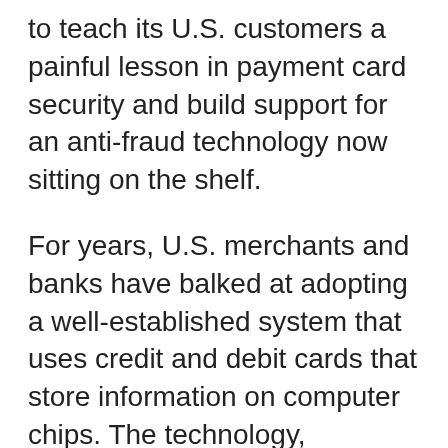to teach its U.S. customers a painful lesson in payment card security and build support for an anti-fraud technology now sitting on the shelf.
For years, U.S. merchants and banks have balked at adopting a well-established system that uses credit and debit cards that store information on computer chips. The technology, ubiquitous in Europe, Canada and elsewhere, makes it harder for thieves to misuse data compared with cards that store data only on magnetic stripes.